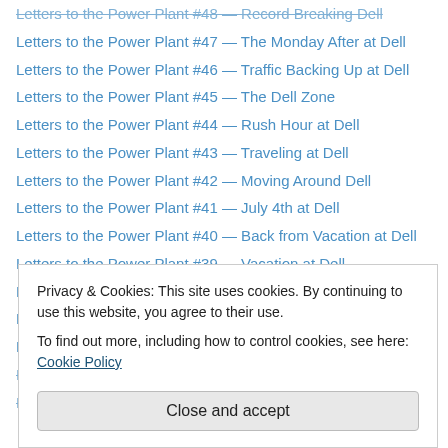Letters to the Power Plant #48 — Record Breaking Dell
Letters to the Power Plant #47 — The Monday After at Dell
Letters to the Power Plant #46 — Traffic Backing Up at Dell
Letters to the Power Plant #45 — The Dell Zone
Letters to the Power Plant #44 — Rush Hour at Dell
Letters to the Power Plant #43 — Traveling at Dell
Letters to the Power Plant #42 — Moving Around Dell
Letters to the Power Plant #41 — July 4th at Dell
Letters to the Power Plant #40 — Back from Vacation at Dell
Letters to the Power Plant #39 — Vacation at Dell
Letters to the Power Plant #38 — Team Builder at Dell
Letters to the Power Plant #37 — A Bit of Dell Trivia
Letters to the Power Plant Men #36 — Sunburned at Dell
Letters to the Power Plant #35 — Not Boring At Dell
Letter to the Power Plant Men #30 — Driving to Dell
Privacy & Cookies: This site uses cookies. By continuing to use this website, you agree to their use. To find out more, including how to control cookies, see here: Cookie Policy